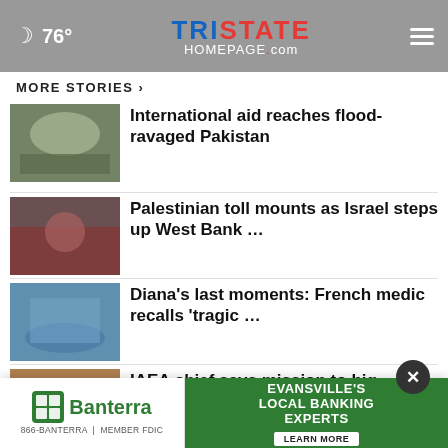76° Tristate Homepage.com
MORE STORIES ›
International aid reaches flood-ravaged Pakistan
Palestinian toll mounts as Israel steps up West Bank …
Diana's last moments: French medic recalls 'tragic …
IAEA chief says mission to big Ukraine nuclear plant …
A cosmic celebration for NASA…
[Figure (infographic): Banterra Bank advertisement - EVANSVILLE'S LOCAL BANKING EXPERTS with Learn More button]